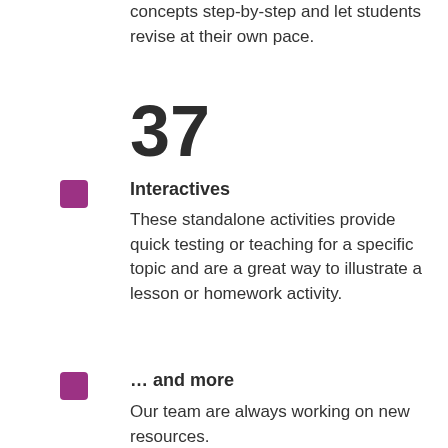concepts step-by-step and let students revise at their own pace.
37
Interactives
These standalone activities provide quick testing or teaching for a specific topic and are a great way to illustrate a lesson or homework activity.
… and more
Our team are always working on new resources.